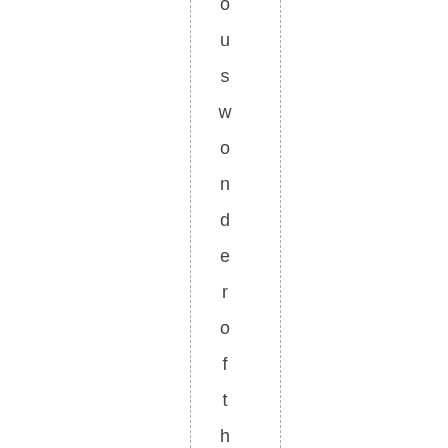ouswonder of the EU. This is th